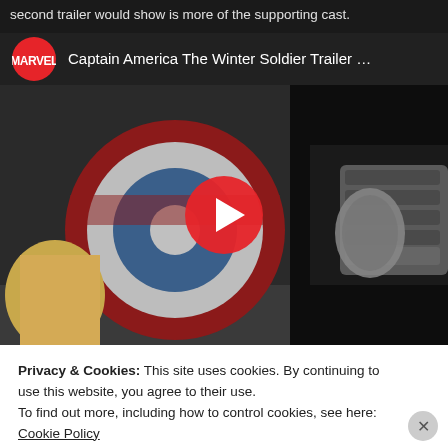second trailer would show is more of the supporting cast.
[Figure (screenshot): YouTube embedded video player showing 'Captain America The Winter Soldier Trailer ...' by Marvel. Thumbnail shows Captain America holding his shield being struck by a metal arm. A red YouTube play button overlay is visible in the center.]
Privacy & Cookies: This site uses cookies. By continuing to use this website, you agree to their use.
To find out more, including how to control cookies, see here: Cookie Policy
Close and accept